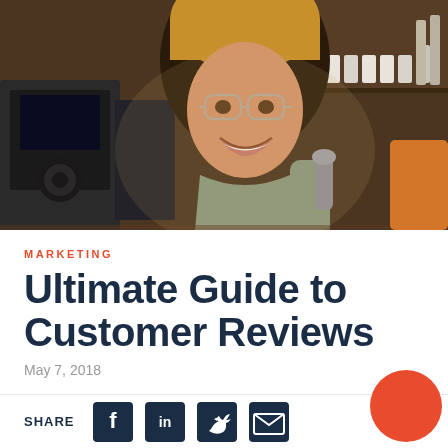[Figure (photo): Smiling woman with glasses and yellow beanie hat working behind a cafe counter, holding equipment, with coffee machines and shelves visible in background]
MARKETING
Ultimate Guide to Customer Reviews
May 7, 2018
SHARE